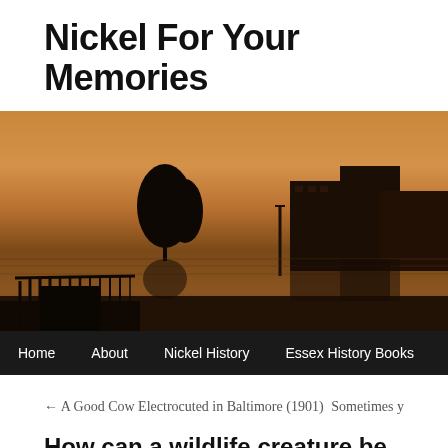Nickel For Your Memories
[Figure (photo): Sunset or twilight waterfront silhouette scene with buildings and trees reflected in calm water, warm orange-brown tones]
Home   About   Nickel History   Essex History Books
← A Good Cow Electrocuted in Baltimore (1901)    Sometimes y
How can a wildlife creature be so humant